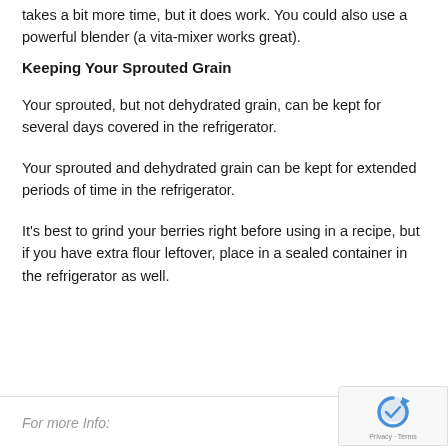takes a bit more time, but it does work. You could also use a powerful blender (a vita-mixer works great).
Keeping Your Sprouted Grain
Your sprouted, but not dehydrated grain, can be kept for several days covered in the refrigerator.
Your sprouted and dehydrated grain can be kept for extended periods of time in the refrigerator.
It's best to grind your berries right before using in a recipe, but if you have extra flour leftover, place in a sealed container in the refrigerator as well.
For more Info: